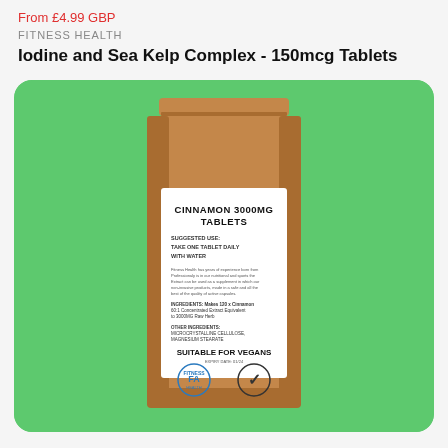From £4.99 GBP
FITNESS HEALTH
Iodine and Sea Kelp Complex - 150mcg Tablets
[Figure (photo): Brown kraft paper standup pouch with white label reading CINNAMON 3000MG TABLETS, suggested use take one tablet daily with water, suitable for vegans, displayed on a green background.]